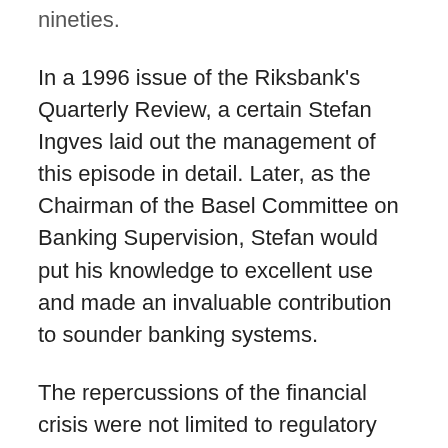nineties.
In a 1996 issue of the Riksbank's Quarterly Review, a certain Stefan Ingves laid out the management of this episode in detail. Later, as the Chairman of the Basel Committee on Banking Supervision, Stefan would put his knowledge to excellent use and made an invaluable contribution to sounder banking systems.
The repercussions of the financial crisis were not limited to regulatory policy, though.
The crisis has reignited the debate of whether central banks should "lean against the wind" and use monetary policy also to prevent the build-up of asset price bubbles. This debate is still ongoing. And as usual, the Riksbank has been at the forefront of it, with regard to both policy invention and